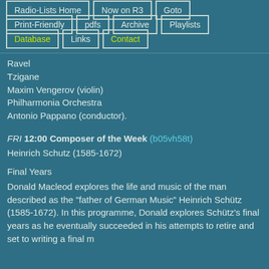Radio-Lists Home
Now on R3
Goto
Print-Friendly
pdfs
Archive
Playlists
Database
Links
Contact
Ravel
Tzigane
Maxim Vengerov (violin)
Philharmonia Orchestra
Antonio Pappano (conductor).
FRI 12:00 Composer of the Week (b05vh58t)
Heinrich Schutz (1585-1672)
Final Years
Donald Macleod explores the life and music of the man described as the "father of German Music" Heinrich Schütz (1585-1672). In this programme, Donald explores Schütz's final years as he eventually succeeded in his attempts to retire and set to writing a final m...